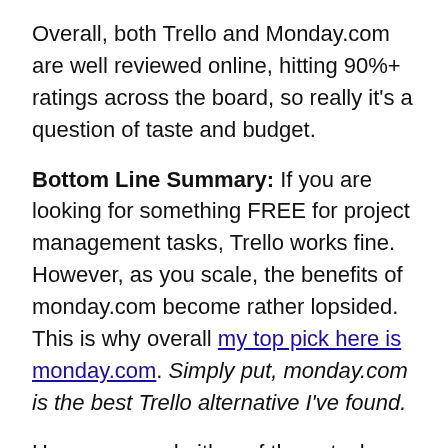Overall, both Trello and Monday.com are well reviewed online, hitting 90%+ ratings across the board, so really it's a question of taste and budget.
Bottom Line Summary: If you are looking for something FREE for project management tasks, Trello works fine. However, as you scale, the benefits of monday.com become rather lopsided. This is why overall my top pick here is monday.com. Simply put, monday.com is the best Trello alternative I've found.
Have you used either of these task management app options and project management tools? If so, we'd love to hear about your opinions and experience in the comments below. Send...